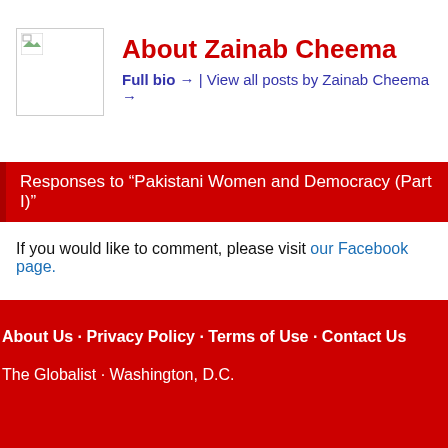[Figure (photo): Small broken image icon placeholder in a white bordered box]
About Zainab Cheema
Full bio → | View all posts by Zainab Cheema →
Responses to “Pakistani Women and Democracy (Part I)”
If you would like to comment, please visit our Facebook page.
About Us · Privacy Policy · Terms of Use · Contact Us
The Globalist · Washington, D.C.